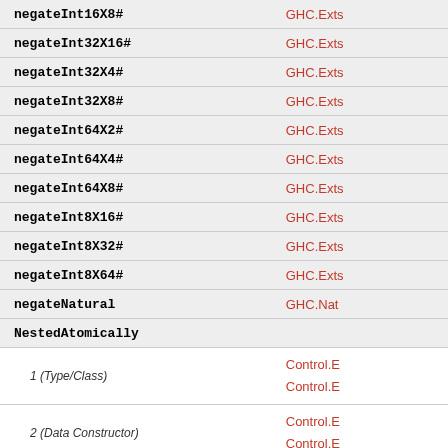| Name | Module |
| --- | --- |
| negateInt16X8# | GHC.Exts |
| negateInt32X16# | GHC.Exts |
| negateInt32X4# | GHC.Exts |
| negateInt32X8# | GHC.Exts |
| negateInt64X2# | GHC.Exts |
| negateInt64X4# | GHC.Exts |
| negateInt64X8# | GHC.Exts |
| negateInt8X16# | GHC.Exts |
| negateInt8X32# | GHC.Exts |
| negateInt8X64# | GHC.Exts |
| negateNatural | GHC.Natural |
| NestedAtomically |  |
| 1 (Type/Class) | Control.Exception / Control.Exception |
| 2 (Data Constructor) | Control.Exception / Control.Exception |
| nestedAtomically | Control.Exception |
| new |  |
| 1 (Function) | Foreign.M... / Foreign.M... |